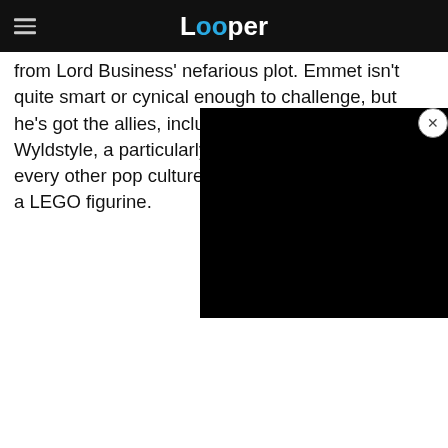Looper
from Lord Business' nefarious plot. Emmet isn't quite smart or cynical enough to challenge, but he's got the allies, including the rebellious Wyldstyle, a particularly mo... much every other pop culture character ever turned into a LEGO figurine.
[Figure (screenshot): Black video player overlay covering part of the article text, with a close (X) button in the upper right corner]